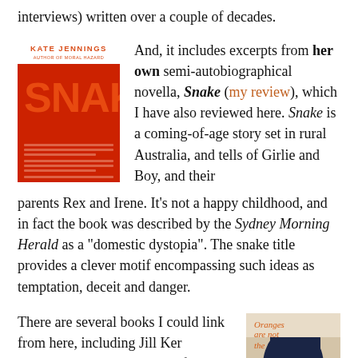interviews) written over a couple of decades.
[Figure (illustration): Book cover of 'Snake' by Kate Jennings. Red background with 'SNAKE' in large orange/red letters, author name at top in red on white band.]
And, it includes excerpts from her own semi-autobiographical novella, Snake (my review), which I have also reviewed here. Snake is a coming-of-age story set in rural Australia, and tells of Girlie and Boy, and their parents Rex and Irene. It's not a happy childhood, and in fact the book was described by the Sydney Morning Herald as a "domestic dystopia". The snake title provides a clever motif encompassing such ideas as temptation, deceit and danger.
There are several books I could link from here, including Jill Ker Conway's memoir The road from Coorain and
[Figure (illustration): Book cover of 'Oranges are not the...' with dark blue silhouette of a hand against a light background, orange title text.]